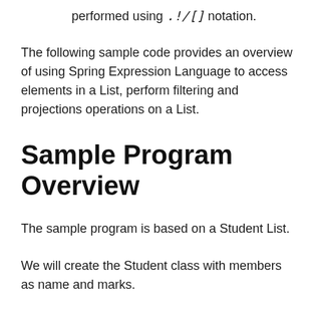performed using .!/[] notation.
The following sample code provides an overview of using Spring Expression Language to access elements in a List, perform filtering and projections operations on a List.
Sample Program Overview
The sample program is based on a Student List.
We will create the Student class with members as name and marks.